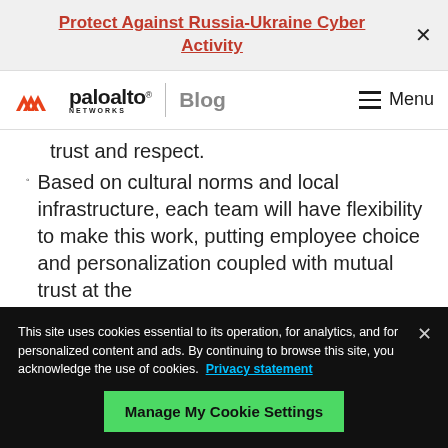Protect Against Russia-Ukraine Cyber Activity
[Figure (logo): Palo Alto Networks logo with orange chevron icon and 'paloalto NETWORKS' text, followed by vertical divider and 'Blog' label, and hamburger Menu icon on right]
trust and respect.
Based on cultural norms and local infrastructure, each team will have flexibility to make this work, putting employee choice and personalization coupled with mutual trust at the
This site uses cookies essential to its operation, for analytics, and for personalized content and ads. By continuing to browse this site, you acknowledge the use of cookies.  Privacy statement
Manage My Cookie Settings